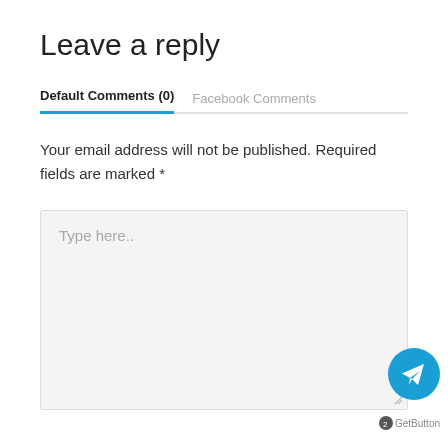Leave a reply
Default Comments (0)	Facebook Comments
Your email address will not be published. Required fields are marked *
[Figure (screenshot): Comment text area with placeholder text 'Type here..' and a Telegram GetButton floating action button in the bottom right corner.]